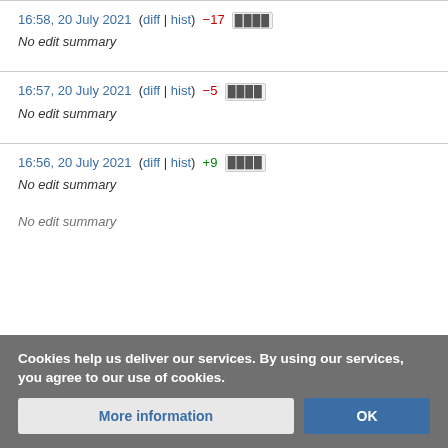16:58, 20 July 2021  (diff | hist)  −17  ████
No edit summary
16:57, 20 July 2021  (diff | hist)  −5  ████
No edit summary
16:56, 20 July 2021  (diff | hist)  +9  ████
No edit summary
No edit summary
Cookies help us deliver our services. By using our services, you agree to our use of cookies.
More information
OK